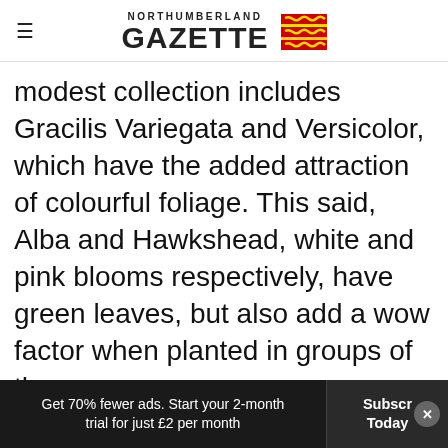NORTHUMBERLAND GAZETTE
modest collection includes Gracilis Variegata and Versicolor, which have the added attraction of colourful foliage. This said, Alba and Hawkshead, white and pink blooms respectively, have green leaves, but also add a wow factor when planted in groups of three.
Fuchsias root so easily from stem cuttings that they are ideal subjects for anyone wishing to try their hand at general propagation. With so much
Get 70% fewer ads. Start your 2-month trial for just £2 per month | Subscribe Today